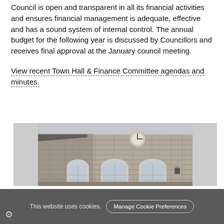Council is open and transparent in all its financial activities and ensures financial management is adequate, effective and has a sound system of internal control. The annual budget for the following year is discussed by Councillors and receives final approval at the January council meeting.
View recent Town Hall & Finance Committee agendas and minutes.
[Figure (photo): Photograph of a stone town hall building facade with arched windows and a clock on the wall, viewed from below against a grey sky.]
This website uses cookies. Manage Cookie Preferences